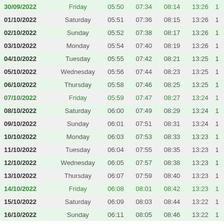| Date | Day | Col3 | Col4 | Col5 | Col6 | Col7 |
| --- | --- | --- | --- | --- | --- | --- |
| 30/09/2022 | Friday | 05:50 | 07:34 | 08:14 | 13:26 | 1 |
| 01/10/2022 | Saturday | 05:51 | 07:36 | 08:15 | 13:26 | 1 |
| 02/10/2022 | Sunday | 05:52 | 07:38 | 08:17 | 13:26 | 1 |
| 03/10/2022 | Monday | 05:54 | 07:40 | 08:19 | 13:26 | 1 |
| 04/10/2022 | Tuesday | 05:55 | 07:42 | 08:21 | 13:25 | 1 |
| 05/10/2022 | Wednesday | 05:56 | 07:44 | 08:23 | 13:25 | 1 |
| 06/10/2022 | Thursday | 05:58 | 07:46 | 08:25 | 13:25 | 1 |
| 07/10/2022 | Friday | 05:59 | 07:47 | 08:27 | 13:24 | 1 |
| 08/10/2022 | Saturday | 06:00 | 07:49 | 08:29 | 13:24 | 1 |
| 09/10/2022 | Sunday | 06:01 | 07:51 | 08:31 | 13:24 | 1 |
| 10/10/2022 | Monday | 06:03 | 07:53 | 08:33 | 13:23 | 1 |
| 11/10/2022 | Tuesday | 06:04 | 07:55 | 08:35 | 13:23 | 1 |
| 12/10/2022 | Wednesday | 06:05 | 07:57 | 08:38 | 13:23 | 1 |
| 13/10/2022 | Thursday | 06:07 | 07:59 | 08:40 | 13:23 | 1 |
| 14/10/2022 | Friday | 06:08 | 08:01 | 08:42 | 13:23 | 1 |
| 15/10/2022 | Saturday | 06:09 | 08:03 | 08:44 | 13:22 | 1 |
| 16/10/2022 | Sunday | 06:11 | 08:05 | 08:46 | 13:22 | 1 |